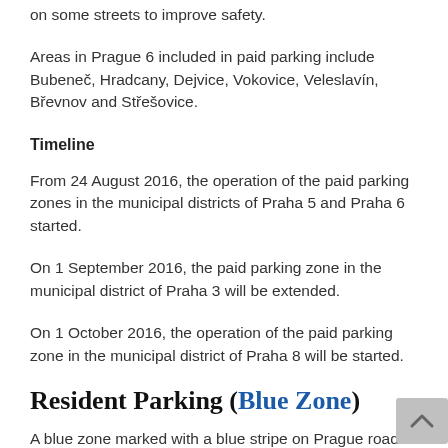on some streets to improve safety.
Areas in Prague 6 included in paid parking include Bubenec, Hradcany, Dejvice, Vokovice, Veleslavín, Břevnov and Střešovice.
Timeline
From 24 August 2016, the operation of the paid parking zones in the municipal districts of Praha 5 and Praha 6 started.
On 1 September 2016, the paid parking zone in the municipal district of Praha 3 will be extended.
On 1 October 2016, the operation of the paid parking zone in the municipal district of Praha 8 will be started.
Resident Parking (Blue Zone)
A blue zone marked with a blue stripe on Prague roads